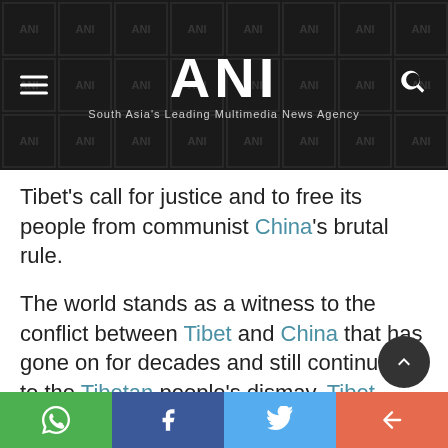ANI — South Asia's Leading Multimedia News Agency
Tibet's call for justice and to free its people from communist China's brutal rule.
The world stands as a witness to the conflict between Tibet and China that has gone on for decades and still continues, to the Tibetan people's dismay, Tibet Press reported.
The report stated that China's illegal
WhatsApp | Facebook | Twitter | More